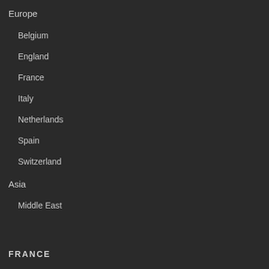Europe
Belgium
England
France
Italy
Netherlands
Spain
Switzerland
Asia
Middle East
FRANCE